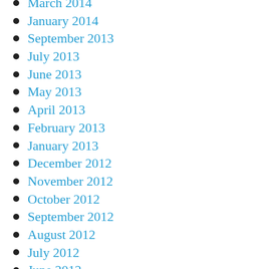March 2014
January 2014
September 2013
July 2013
June 2013
May 2013
April 2013
February 2013
January 2013
December 2012
November 2012
October 2012
September 2012
August 2012
July 2012
June 2012
May 2012